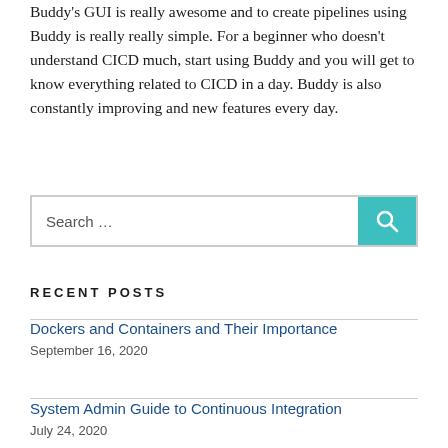Buddy's GUI is really awesome and to create pipelines using Buddy is really really simple. For a beginner who doesn't understand CICD much, start using Buddy and you will get to know everything related to CICD in a day. Buddy is also constantly improving and new features every day.
Search …
RECENT POSTS
Dockers and Containers and Their Importance
September 16, 2020
System Admin Guide to Continuous Integration
July 24, 2020